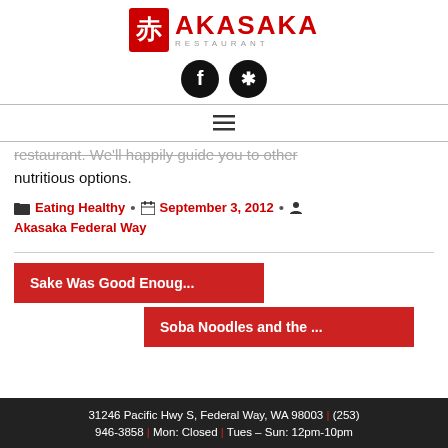[Figure (logo): Akasaka Restaurant logo with red kanji square and stylized text]
[Figure (other): Social media icons: Facebook and Yelp circular black icons]
[Figure (other): Navigation bar with hamburger menu icon]
restaurant. We'll happily guide you to other nutritious options.
Eating Healthy • September 3, 2012 • Akasaka Federal Way
Sake Was Good Enoug...
Soba Noodles and the ...
31246 Pacific Hwy S, Federal Way, WA 98003 | (253) 946-3858 | Mon: Closed | Tues – Sun: 12pm-10pm